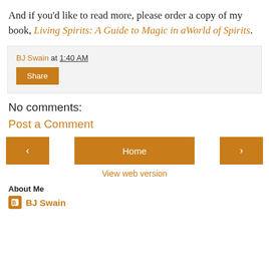And if you'd like to read more, please order a copy of my book, Living Spirits: A Guide to Magic in aWorld of Spirits.
BJ Swain at 1:40 AM
Share
No comments:
Post a Comment
< Home >
View web version
About Me
BJ Swain